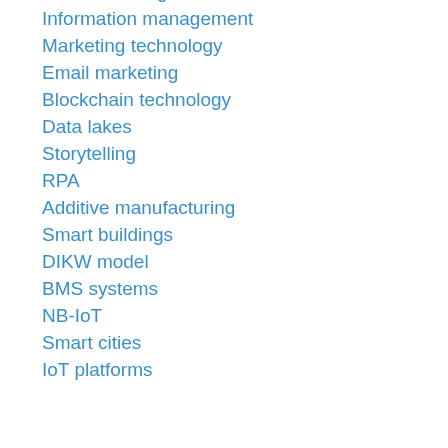Artificial intelligence
Information management
Marketing technology
Email marketing
Blockchain technology
Data lakes
Storytelling
RPA
Additive manufacturing
Smart buildings
DIKW model
BMS systems
NB-IoT
Smart cities
IoT platforms